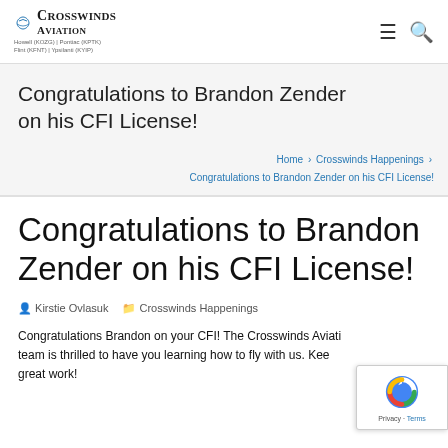Crosswinds Aviation — Howell (KOZG) | Pontiac (KPTK) | Flint (KFNT) | Ypsilanti (KYIP)
Congratulations to Brandon Zender on his CFI License!
Home > Crosswinds Happenings > Congratulations to Brandon Zender on his CFI License!
Congratulations to Brandon Zender on his CFI License!
Kirstie Ovlasuk   Crosswinds Happenings
Congratulations Brandon on your CFI! The Crosswinds Aviation team is thrilled to have you learning how to fly with us. Keep up the great work!